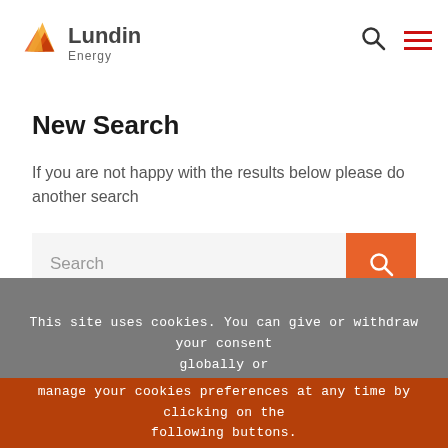[Figure (logo): Lundin Energy logo with flame/mountain graphic and company name]
New Search
If you are not happy with the results below please do another search
[Figure (screenshot): Search input box with orange search button]
This site uses cookies. You can give or withdraw your consent globally or manage your cookies preferences at any time by clicking on the following buttons.